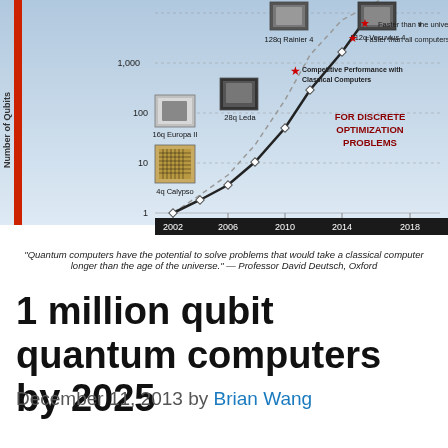[Figure (continuous-plot): D-Wave quantum computer qubit scaling chart (logarithmic y-axis, Number of Qubits vs Year 2002-2018). Shows exponential growth line from 1 qubit in 2002 to projected 1 million+ qubits. Labeled milestones: 4q Calypso, 16q Europa II, 28q Leda, 128q Rainier 4, 512q Vesuvius 4. Red stars mark 'Faster than the universe', 'Faster than all computers', and 'Competitive Performance with Classical Computers'. Text: FOR DISCRETE OPTIMIZATION PROBLEMS.]
"Quantum computers have the potential to solve problems that would take a classical computer longer than the age of the universe." — Professor David Deutsch, Oxford
1 million qubit quantum computers by 2025
December 11, 2013 by Brian Wang